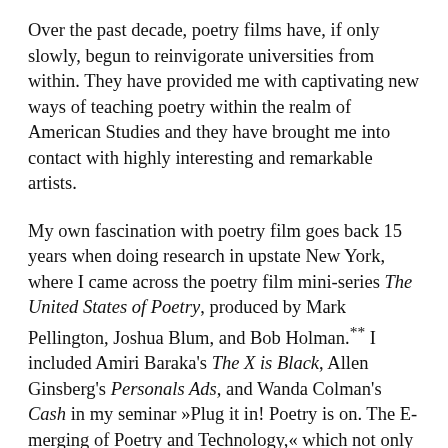Over the past decade, poetry films have, if only slowly, begun to reinvigorate universities from within. They have provided me with captivating new ways of teaching poetry within the realm of American Studies and they have brought me into contact with highly interesting and remarkable artists.
My own fascination with poetry film goes back 15 years when doing research in upstate New York, where I came across the poetry film mini-series The United States of Poetry, produced by Mark Pellington, Joshua Blum, and Bob Holman.** I included Amiri Baraka's The X is Black, Allen Ginsberg's Personals Ads, and Wanda Colman's Cash in my seminar »Plug it in! Poetry is on. The E-merging of Poetry and Technology,« which not only I, but also my students greatly enjoyed. These clips, which went beyond filming a poet's performance at a